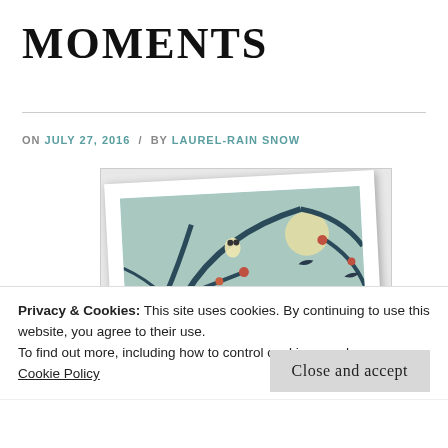MOMENTS
ON JULY 27, 2016  /  BY LAUREL-RAIN SNOW
[Figure (illustration): A polaroid-style illustration showing a girl with dark hair sitting and reading a red book, surrounded by trees with branches and colorful birds/flowers on a teal/blue background. The image is tilted slightly.]
Privacy & Cookies: This site uses cookies. By continuing to use this website, you agree to their use.
To find out more, including how to control cookies, see here:
Cookie Policy
Close and accept